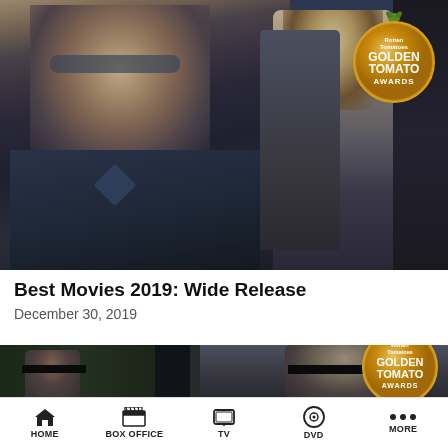[Figure (photo): Movie still from Avengers Endgame showing Captain America in armor with other heroes behind him, golden light top-left, with Rotten Tomatoes Golden Tomato Awards badge top-right]
Best Movies 2019: Wide Release
December 30, 2019
[Figure (photo): Movie still from Parasite showing two characters with black bars over their eyes, Rotten Tomatoes Golden Tomato Awards badge top-right]
HOME  BOX OFFICE  TV  DVD  MORE